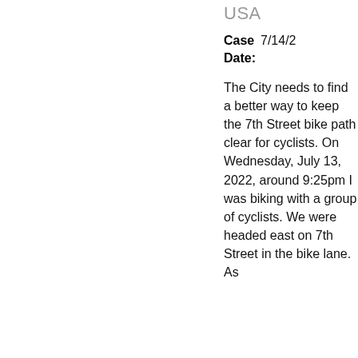USA
Case Date: 7/14/2
The City needs to find a better way to keep the 7th Street bike path clear for cyclists. On Wednesday, July 13, 2022, around 9:25pm I was biking with a group of cyclists. We were headed east on 7th Street in the bike lane. As